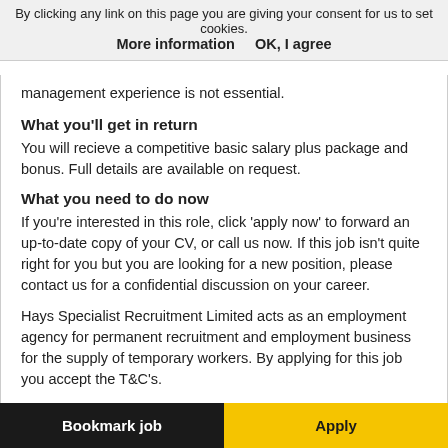By clicking any link on this page you are giving your consent for us to set cookies. More information   OK, I agree
management experience is not essential.
What you'll get in return
You will recieve a competitive basic salary plus package and bonus. Full details are available on request.
What you need to do now
If you're interested in this role, click 'apply now' to forward an up-to-date copy of your CV, or call us now. If this job isn't quite right for you but you are looking for a new position, please contact us for a confidential discussion on your career.
Hays Specialist Recruitment Limited acts as an employment agency for permanent recruitment and employment business for the supply of temporary workers. By applying for this job you accept the T&C's.
Bookmark job   Apply